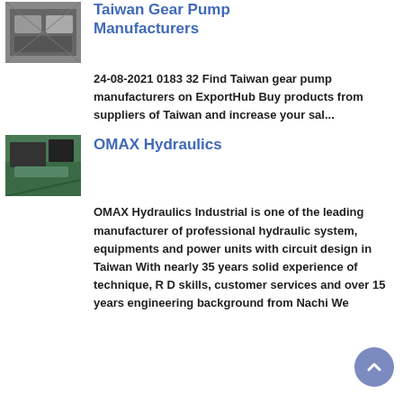[Figure (photo): Thumbnail image of gear pump machinery]
Taiwan Gear Pump Manufacturers
24-08-2021 0183 32 Find Taiwan gear pump manufacturers on ExportHub Buy products from suppliers of Taiwan and increase your sal...
[Figure (photo): Thumbnail image of hydraulic equipment]
OMAX Hydraulics
OMAX Hydraulics Industrial is one of the leading manufacturer of professional hydraulic system, equipments and power units with circuit design in Taiwan With nearly 35 years solid experience of technique, R D skills, customer services and over 15 years engineering background from Nachi We